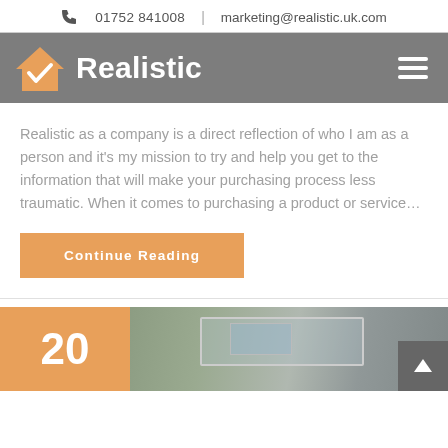📞 01752 841008  |  marketing@realistic.uk.com
[Figure (logo): Realistic company logo with orange house checkmark icon and white bold text 'Realistic' on grey background, with hamburger menu icon on the right]
Realistic as a company is a direct reflection of who I am as a person and it's my mission to try and help you get to the information that will make your purchasing process less traumatic. When it comes to purchasing a product or service…
Continue Reading
[Figure (photo): Partial photo of a building with a flat roof extension featuring skylights, brick walls, and trees in the background. Orange date box showing '20' overlaid on the left side.]